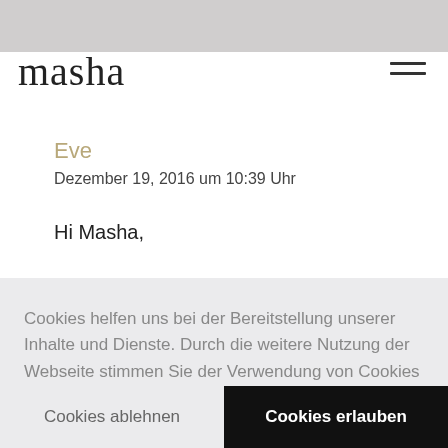[Figure (logo): Handwritten script logo reading 'masha']
Eve
Dezember 19, 2016 um 10:39 Uhr
Hi Masha,

ich finde diesen natürlichen Look sehr schön. Stehe auch eber auf Nude-Töne und zurückhaltenderes
Cookies helfen uns bei der Bereitstellung unserer Inhalte und Dienste. Durch die weitere Nutzung der Webseite stimmen Sie der Verwendung von Cookies zu.  Mehr erfahren
Cookies ablehnen
Cookies erlauben